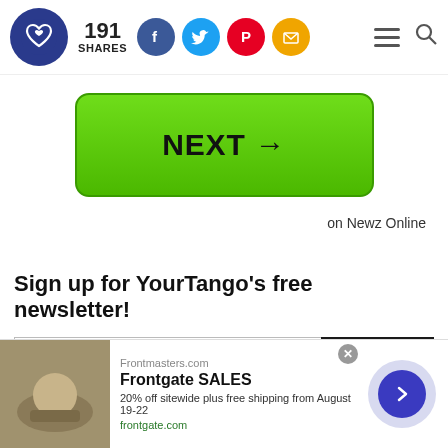YourTango logo — 191 SHARES — Facebook, Twitter, Pinterest, Email social icons — hamburger menu — search icon
[Figure (screenshot): Green NEXT → button]
on Newz Online
Sign up for YourTango's free newsletter!
[Figure (screenshot): Email address input field with SUBSCRIBE button]
[Figure (screenshot): Advertisement banner: Frontgate SALES — 20% off sitewide plus free shipping from August 19-22 — frontgate.com]